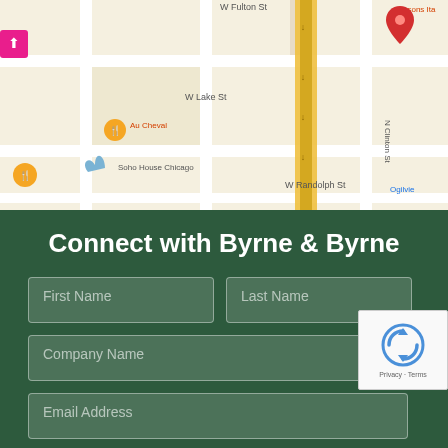[Figure (map): Google Maps screenshot showing Chicago downtown area near W Fulton St, W Lake St, W Randolph St with red location pin marker. Visible landmarks include Soho House Chicago, Au Cheval, Alla Vita, Hampton Inn Chicago Downtown West Loop, Clinton M (metro station), Gibsons Ita, Ogilvie Transportation. Yellow elevated train tracks run through center.]
Connect with Byrne & Byrne
First Name
Last Name
Company Name
Email Address